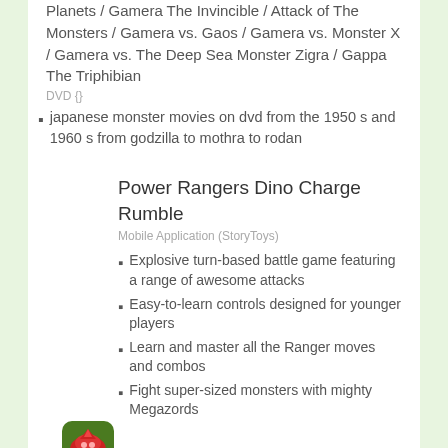Planets / Gamera The Invincible / Attack of The Monsters / Gamera vs. Gaos / Gamera vs. Monster X / Gamera vs. The Deep Sea Monster Zigra / Gappa The Triphibian
DVD {}
japanese monster movies on dvd from the 1950 s and 1960 s from godzilla to mothra to rodan
Power Rangers Dino Charge Rumble
Mobile Application (StoryToys)
Explosive turn-based battle game featuring a range of awesome attacks
Easy-to-learn controls designed for younger players
Learn and master all the Ranger moves and combos
Fight super-sized monsters with mighty Megazords
[Figure (illustration): App icon for Power Rangers Dino Charge Rumble — green background with red dinosaur/dragon face]